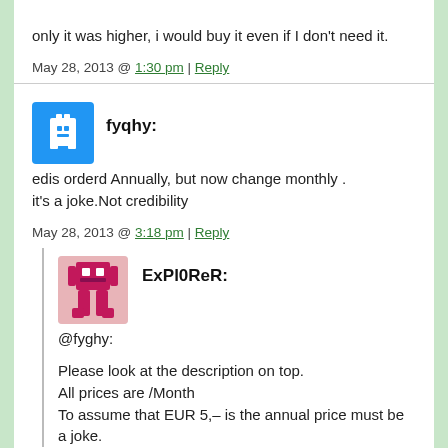only it was higher, i would buy it even if I don't need it.
May 28, 2013 @ 1:30 pm | Reply
fyqhy:
edis orderd Annually, but now change monthly .
it's a joke.Not credibility
May 28, 2013 @ 3:18 pm | Reply
ExPl0ReR:
@fyghy:

Please look at the description on top.
All prices are /Month
To assume that EUR 5,– is the annual price must be a joke.